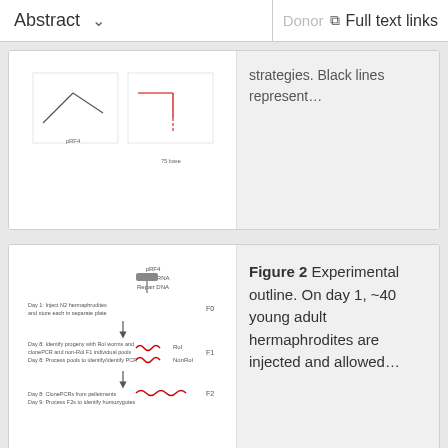Abstract   ∨     Donor   Full text links
strategies. Black lines represent…
Figure 2 Experimental outline. On day 1, ~40 young adult hermaphrodites are injected and allowed…
[Figure (schematic): Multi-step experimental outline diagram showing C. elegans injection workflow with pRF4/CasingSRNA/Repair DNA, F0/F1/F2 generations, Rol and NonRol pools, PCR screening steps with red worm illustrations]
Figure 3 Expression of tagged proteins. (A) Western blot using whole-worm or embryonic
[Figure (photo): Western blot gel images and fluorescence microscopy images of C. elegans]